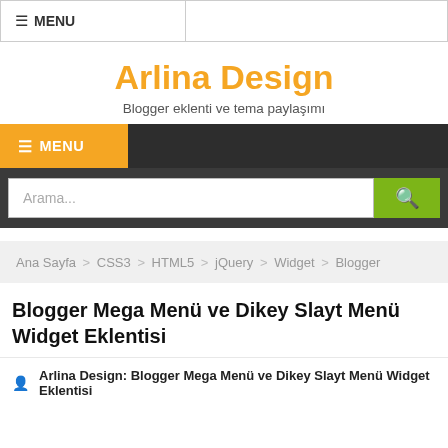≡ MENU
Arlina Design
Blogger eklenti ve tema paylaşımı
≡ MENU
Arama...
Ana Sayfa > CSS3 > HTML5 > jQuery > Widget > Blogger
Blogger Mega Menü ve Dikey Slayt Menü Widget Eklentisi
Arlina Design: Blogger Mega Menü ve Dikey Slayt Menü Widget Eklentisi